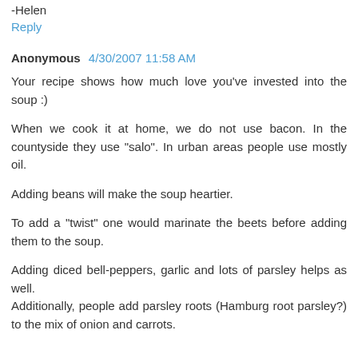-Helen
Reply
Anonymous 4/30/2007 11:58 AM
Your recipe shows how much love you've invested into the soup :)
When we cook it at home, we do not use bacon. In the countyside they use "salo". In urban areas people use mostly oil.
Adding beans will make the soup heartier.
To add a "twist" one would marinate the beets before adding them to the soup.
Adding diced bell-peppers, garlic and lots of parsley helps as well.
Additionally, people add parsley roots (Hamburg root parsley?) to the mix of onion and carrots.